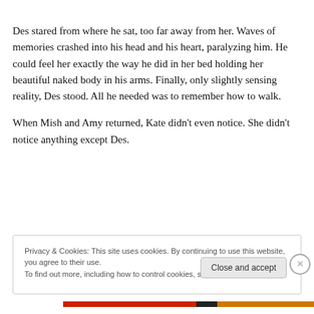Des stared from where he sat, too far away from her. Waves of memories crashed into his head and his heart, paralyzing him. He could feel her exactly the way he did in her bed holding her beautiful naked body in his arms. Finally, only slightly sensing reality, Des stood. All he needed was to remember how to walk.
When Mish and Amy returned, Kate didn’t even notice. She didn’t notice anything except Des.
Privacy & Cookies: This site uses cookies. By continuing to use this website, you agree to their use.
To find out more, including how to control cookies, see here: Cookie Policy
Close and accept